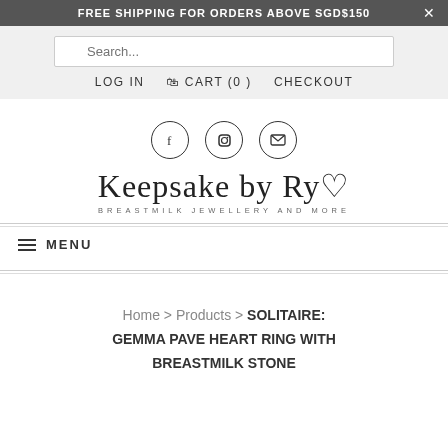FREE SHIPPING FOR ORDERS ABOVE SGD$150
Search...
LOG IN   CART (0)   CHECKOUT
[Figure (logo): Social media icons: Facebook, Instagram, Email in circles]
[Figure (logo): Keepsake by Ryo logo with tagline BREASTMILK JEWELLERY AND MORE]
MENU
Home > Products > SOLITAIRE: GEMMA PAVE HEART RING WITH BREASTMILK STONE